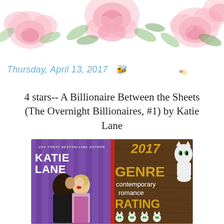[Figure (illustration): Watercolor floral banner with pink roses and green leaves on white background, with date text overlay]
4 stars-- A Billionaire Between the Sheets (The Overnight Billionaires, #1) by Katie Lane
[Figure (illustration): Composite image: left half shows book cover for 'A Billionaire Between the Sheets' by Katie Lane (USA Today Bestselling Author) with a couple in evening wear; right half shows a 2017 Genre rating badge on wood background with cat mascot, reading GENRE contemporary romance RATING with cat icons]